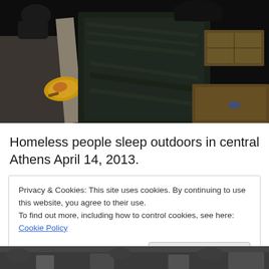[Figure (photo): Overhead view of homeless people sleeping outdoors on cardboard on a dark surface, with a plate of food visible, taken at night in central Athens.]
Homeless people sleep outdoors in central Athens April 14, 2013.
Privacy & Cookies: This site uses cookies. By continuing to use this website, you agree to their use.
To find out more, including how to control cookies, see here: Cookie Policy
[Figure (photo): Partial bottom photograph, appears to show people outdoors, partially cut off.]